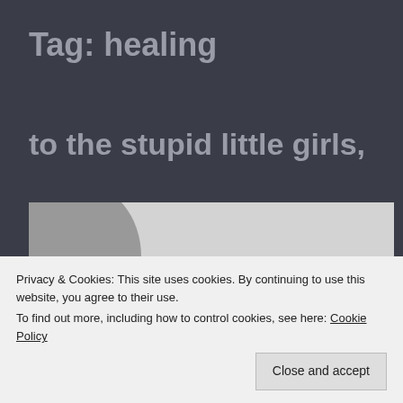Tag: healing
to the stupid little girls,
[Figure (photo): Black and white photo of a young girl at a beach or coastal area, with rocky cliffs visible in the background. The girl's face is partially visible, looking upward.]
Privacy & Cookies: This site uses cookies. By continuing to use this website, you agree to their use.
To find out more, including how to control cookies, see here: Cookie Policy
Close and accept